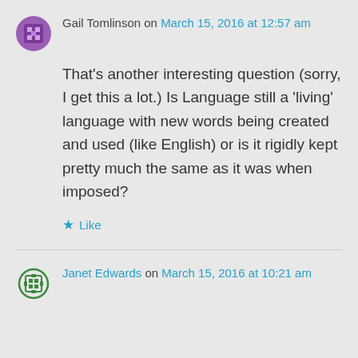Gail Tomlinson on March 15, 2016 at 12:57 am
That’s another interesting question (sorry, I get this a lot.) Is Language still a ‘living’ language with new words being created and used (like English) or is it rigidly kept pretty much the same as it was when imposed?
★ Like
Janet Edwards on March 15, 2016 at 10:21 am